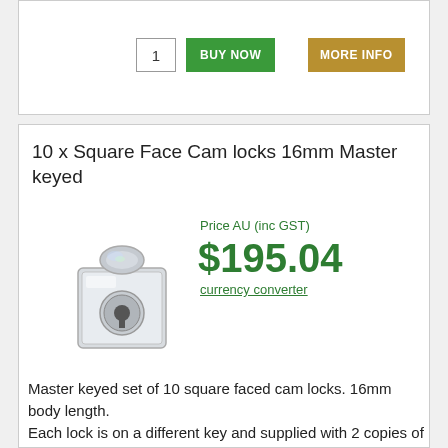[Figure (logo): Circular logo with letters EL inside, with a blue dot accent, black circle border]
1
BUY NOW
MORE INFO
10 x Square Face Cam locks 16mm Master keyed
[Figure (photo): Square face cam lock, chrome/silver finish, showing keyhole, 16mm body length]
Price AU (inc GST)
$195.04
currency converter
Master keyed set of 10 square faced cam locks. 16mm body length.
Each lock is on a different key and supplied with 2 copies of the same key, that will open all locks in this set.